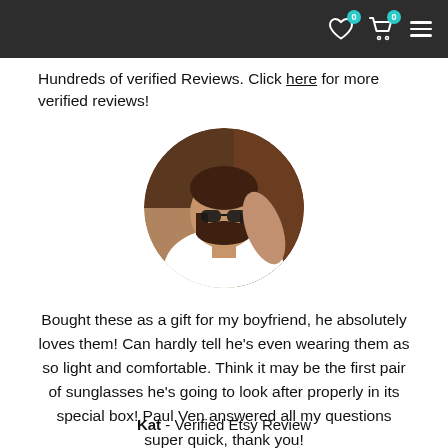0 0 (navigation icons)
Hundreds of verified Reviews. Click here for more verified reviews!
[Figure (photo): Circular profile photo of a man with dark hair and beard, wearing sunglasses and a white t-shirt, sitting on a dark leather chair.]
Bought these as a gift for my boyfriend, he absolutely loves them! Can hardly tell he's even wearing them as so light and comfortable. Think it may be the first pair of sunglasses he's going to look after properly in its special box! Paul Ven answered all my questions super quick, thank you!
Kat - Verified Etsy Review